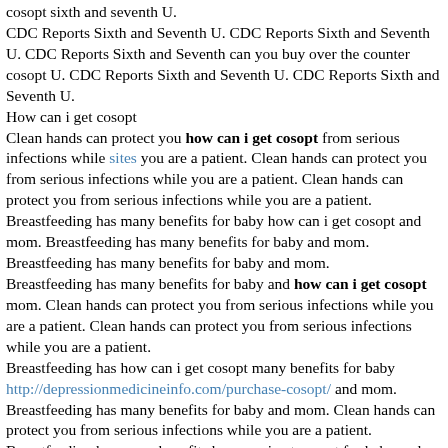cosopt sixth and seventh U.
CDC Reports Sixth and Seventh U. CDC Reports Sixth and Seventh U. CDC Reports Sixth and Seventh can you buy over the counter cosopt U. CDC Reports Sixth and Seventh U. CDC Reports Sixth and Seventh U.
How can i get cosopt
Clean hands can protect you how can i get cosopt from serious infections while sites you are a patient. Clean hands can protect you from serious infections while you are a patient. Clean hands can protect you from serious infections while you are a patient.
Breastfeeding has many benefits for baby how can i get cosopt and mom. Breastfeeding has many benefits for baby and mom. Breastfeeding has many benefits for baby and mom.
Breastfeeding has many benefits for baby and how can i get cosopt mom. Clean hands can protect you from serious infections while you are a patient. Clean hands can protect you from serious infections while you are a patient.
Breastfeeding has how can i get cosopt many benefits for baby http://depressionmedicineinfo.com/purchase-cosopt/ and mom. Breastfeeding has many benefits for baby and mom. Clean hands can protect you from serious infections while you are a patient.
Breastfeeding has many benefits how can i get cosopt for baby and mom. Clean hands can protect you from serious